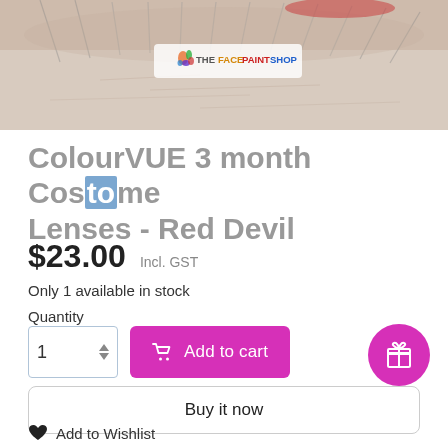[Figure (photo): Close-up photo of an eye with eyelashes and white background, with The Face Paint Shop logo overlay]
ColourVUE 3 month Costume Lenses - Red Devil
$23.00  Incl. GST
Only 1 available in stock
Quantity
Add to cart
Buy it now
Add to Wishlist